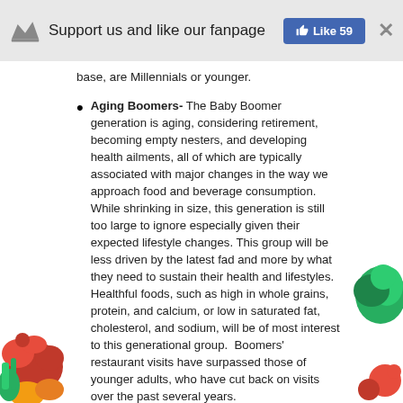Support us and like our fanpage  Like 59  ×
base, are Millennials or younger.
Aging Boomers- The Baby Boomer generation is aging, considering retirement, becoming empty nesters, and developing health ailments, all of which are typically associated with major changes in the way we approach food and beverage consumption. While shrinking in size, this generation is still too large to ignore especially given their expected lifestyle changes. This group will be less driven by the latest fad and more by what they need to sustain their health and lifestyles. Healthful foods, such as high in whole grains, protein, and calcium, or low in saturated fat, cholesterol, and sodium, will be of most interest to this generational group. Boomers' restaurant visits have surpassed those of younger adults, who have cut back on visits over the past several years.
Smaller Households- Consumption behaviors in the U.S. have become less household-oriented